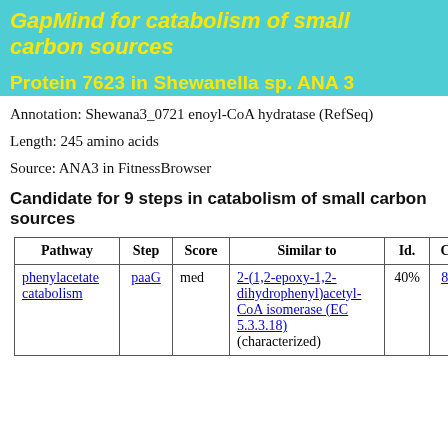GapMind for catabolism of small carbon sources
Protein 7623 in Shewanella sp. ANA 3
Annotation: Shewana3_0721 enoyl-CoA hydratase (RefSeq)
Length: 245 amino acids
Source: ANA3 in FitnessBrowser
Candidate for 9 steps in catabolism of small carbon sources
| Pathway | Step | Score | Similar to | Id. | Cov. | B |
| --- | --- | --- | --- | --- | --- | --- |
| phenylacetate catabolism | paaG | med | 2-(1,2-epoxy-1,2-dihydrophenyl)acetyl-CoA isomerase (EC 5.3.3.18) (characterized) | 40% | 81% | 13 |